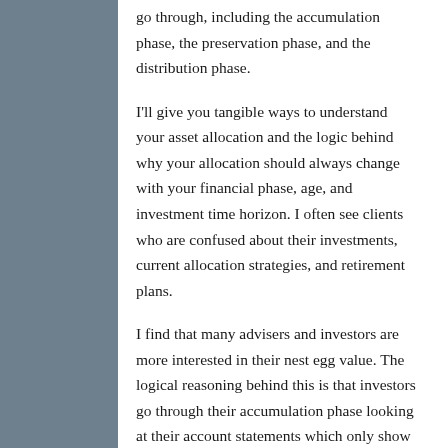go through, including the accumulation phase, the preservation phase, and the distribution phase.
I'll give you tangible ways to understand your asset allocation and the logic behind why your allocation should always change with your financial phase, age, and investment time horizon. I often see clients who are confused about their investments, current allocation strategies, and retirement plans.
I find that many advisers and investors are more interested in their nest egg value. The logical reasoning behind this is that investors go through their accumulation phase looking at their account statements which only show the lump sum value. The common goal is for this VALUE is to create a